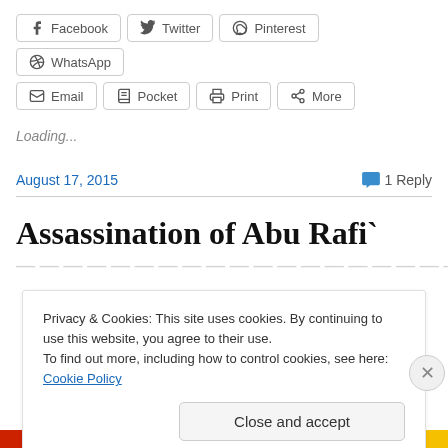[Figure (screenshot): Social share buttons row 1: Facebook, Twitter, Pinterest, WhatsApp]
[Figure (screenshot): Social share buttons row 2: Email, Pocket, Print, More]
Loading...
August 17, 2015
1 Reply
Assassination of Abu Rafi`
Privacy & Cookies: This site uses cookies. By continuing to use this website, you agree to their use.
To find out more, including how to control cookies, see here: Cookie Policy
Close and accept